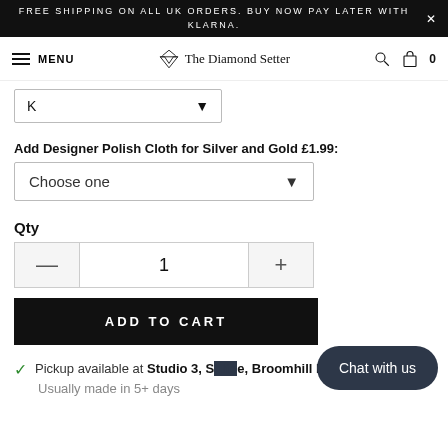FREE SHIPPING ON ALL UK ORDERS. BUY NOW PAY LATER WITH KLARNA.
MENU  The Diamond Setter  0
K
Add Designer Polish Cloth for Silver and Gold £1.99:
Choose one
Qty
1
ADD TO CART
Pickup available at Studio 3, S...e, Broomhill Road
Usually made in 5+ days